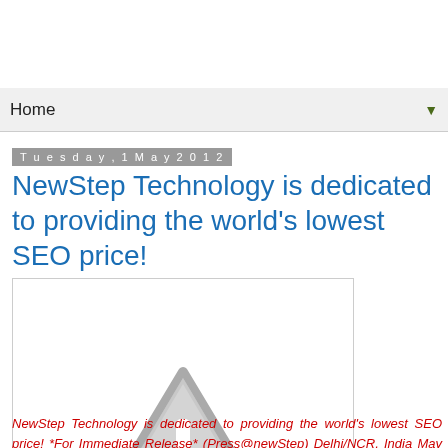Home
Tuesday, 1 May 2012
NewStep Technology is dedicated to providing the world's lowest SEO price!
[Figure (illustration): Warning triangle icon with exclamation mark, grey/white colors, inside a white bordered box]
NewStep Technology is dedicated to providing the world's lowest SEO price! *For Immediate Release* (Press@newStep) Delhi/NCR, India May 31, 2012 — We are the world's leading SEO